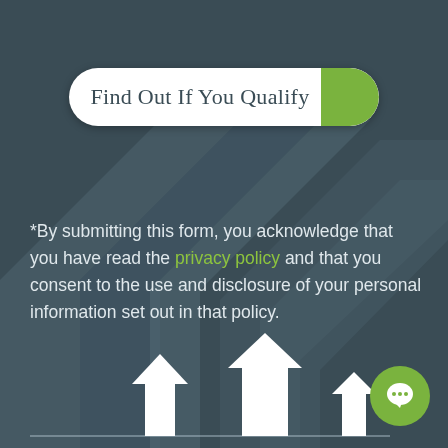[Figure (infographic): Dark teal background with large diagonal arrow/chevron shapes creating a staircase-like pattern in slightly lighter teal tones]
Find Out If You Qualify
*By submitting this form, you acknowledge that you have read the privacy policy and that you consent to the use and disclosure of your personal information set out in that policy.
[Figure (illustration): Three white house/arrow icons at the bottom of the page, ascending in size from right to left, with a horizontal line beneath them]
[Figure (illustration): Green circle with white speech bubble chat icon in the bottom right corner]